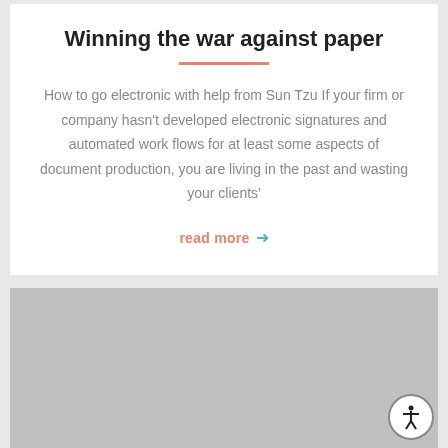Winning the war against paper
How to go electronic with help from Sun Tzu If your firm or company hasn't developed electronic signatures and automated work flows for at least some aspects of document production, you are living in the past and wasting your clients'
read more →
[Figure (photo): Gray placeholder image block below the article card]